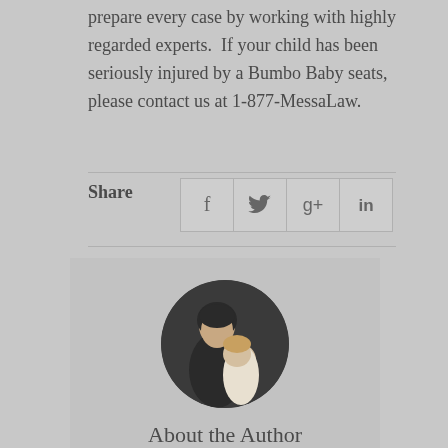prepare every case by working with highly regarded experts.  If your child has been seriously injured by a Bumbo Baby seats, please contact us at 1-877-MessaLaw.
Share
[Figure (infographic): Social share bar with Facebook (f), Twitter (bird), Google+ (g+), and LinkedIn (in) icons]
[Figure (photo): Circular profile photo of a man holding a young child, used as author avatar]
About the Author